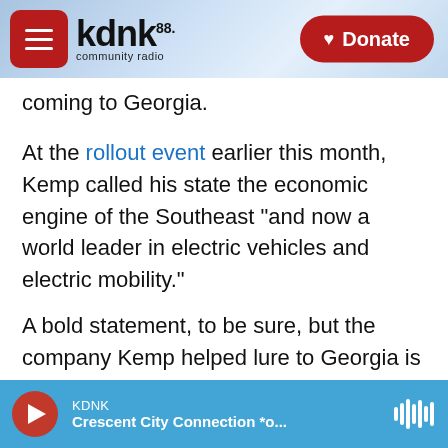KDNK 88 community radio | Donate
coming to Georgia.
At the rollout event earlier this month, Kemp called his state the economic engine of the Southeast "and now a world leader in electric vehicles and electric mobility."
A bold statement, to be sure, but the company Kemp helped lure to Georgia is indeed a big deal. Rivian is one of the hottest electric vehicle startups. And while it has produced only a few hundred pickup trucks so far, the California company is already valued more than Ford Motor Co. Amazon has committed to buying 100,000 of Rivian's
KDNK | Crescent City Connection *o...